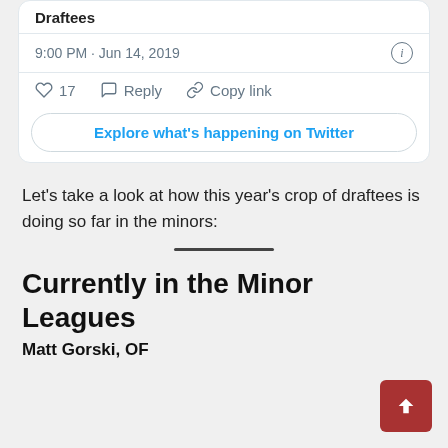[Figure (screenshot): Partial Twitter/X tweet embed showing username 'Draftees', timestamp '9:00 PM · Jun 14, 2019', like count 17, Reply and Copy link actions, and an 'Explore what's happening on Twitter' button]
Let's take a look at how this year's crop of draftees is doing so far in the minors:
Currently in the Minor Leagues
Matt Gorski, OF